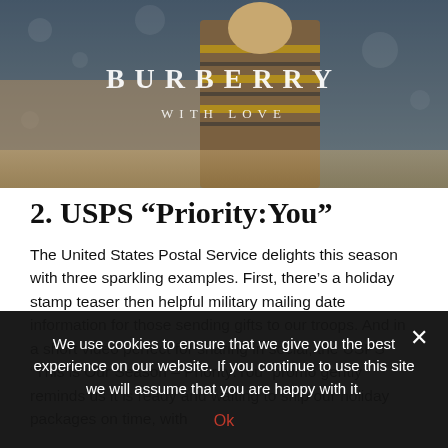[Figure (illustration): Burberry advertisement banner showing a person wearing a striped Burberry scarf/coat in an outdoor winter setting. White serif text reads 'BURBERRY' and beneath it 'WITH LOVE'.]
2. USPS “Priority:You”
The United States Postal Service delights this season with three sparkling examples. First, there’s a holiday stamp teaser then helpful military mailing date information for those sending gifts to our troops. And in a short video perfect for sharing in social, the USPS “This is Our Season – Priority:You” promo gently reminds us it is ready and waiting to ship our holiday packages on time, with
We use cookies to ensure that we give you the best experience on our website. If you continue to use this site we will assume that you are happy with it.
Ok